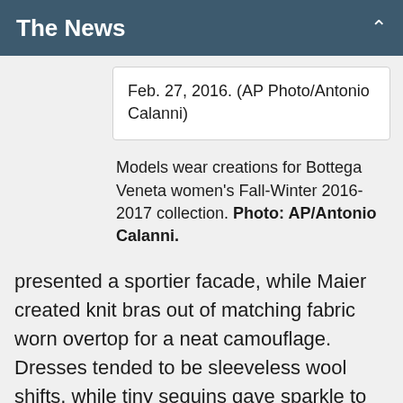The News
Feb. 27, 2016. (AP Photo/Antonio Calanni)
Models wear creations for Bottega Veneta women's Fall-Winter 2016-2017 collection. Photo: AP/Antonio Calanni.
presented a sportier facade, while Maier created knit bras out of matching fabric worn overtop for a neat camouflage. Dresses tended to be sleeveless wool shifts, while tiny sequins gave sparkle to plaid overcoats that fastened with a diagonal strap across the lapels.